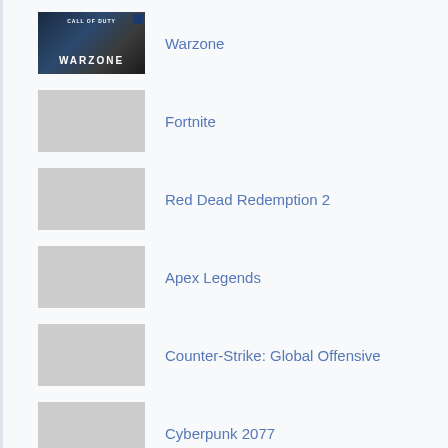[Figure (screenshot): Call of Duty Warzone game thumbnail image]
Warzone
[Figure (photo): Fortnite game thumbnail placeholder]
Fortnite
[Figure (photo): Red Dead Redemption 2 game thumbnail placeholder]
Red Dead Redemption 2
[Figure (photo): Apex Legends game thumbnail placeholder]
Apex Legends
[Figure (photo): Counter-Strike: Global Offensive game thumbnail placeholder]
Counter-Strike: Global Offensive
[Figure (photo): Cyberpunk 2077 game thumbnail placeholder]
Cyberpunk 2077
[Figure (photo): PUBG PC game thumbnail placeholder]
PUBG PC